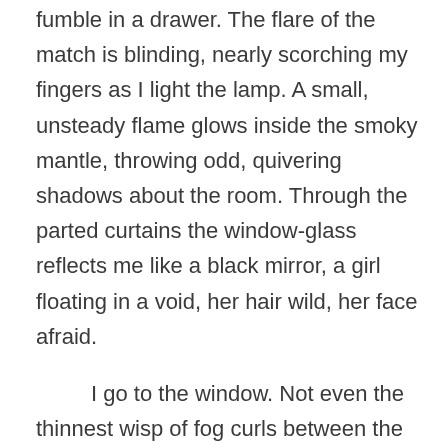fumble in a drawer. The flare of the match is blinding, nearly scorching my fingers as I light the lamp. A small, unsteady flame glows inside the smoky mantle, throwing odd, quivering shadows about the room. Through the parted curtains the window-glass reflects me like a black mirror, a girl floating in a void, her hair wild, her face afraid.

    I go to the window. Not even the thinnest wisp of fog curls between the panes. I twist the latch and push open the casement.

    The window swings open into